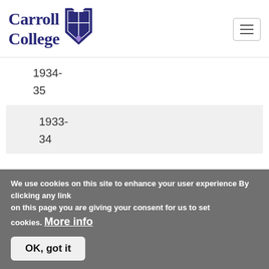Carroll College
1934-
35
1933-
34
1932-
33
4-4
We use cookies on this site to enhance your user experience By clicking any link on this page you are giving your consent for us to set cookies. More info
OK, got it